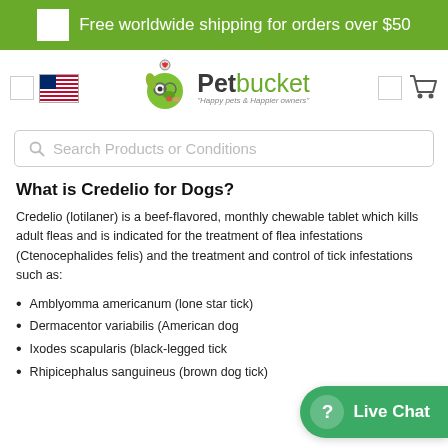Free worldwide shipping for orders over $50
[Figure (logo): Petbucket logo with green cartoon dog and tagline 'Happy pets & Happier owners']
Search Products or Conditions
What is Credelio for Dogs?
Credelio (lotilaner) is a beef-flavored, monthly chewable tablet which kills adult fleas and is indicated for the treatment of flea infestations (Ctenocephalides felis) and the treatment and control of tick infestations such as:
Amblyomma americanum (lone star tick)
Dermacentor variabilis (American dog tick)
Ixodes scapularis (black-legged tick)
Rhipicephalus sanguineus (brown dog tick)